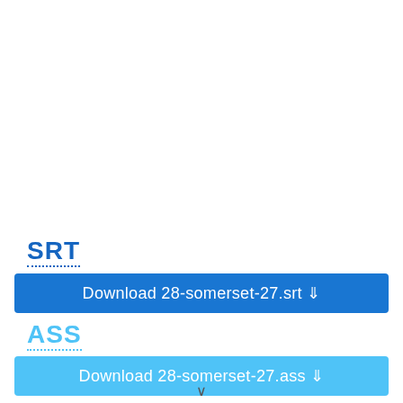SRT
Download 28-somerset-27.srt ⇓
ASS
Download 28-somerset-27.ass ⇓